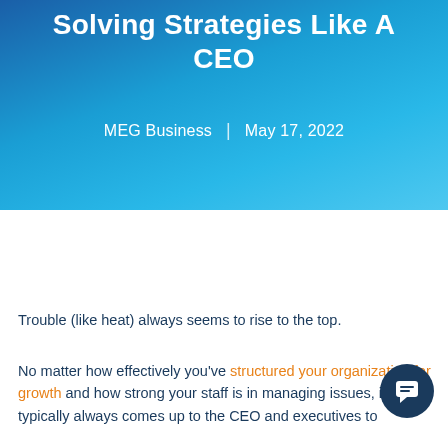Solving Strategies Like A CEO
MEG Business | May 17, 2022
Trouble (like heat) always seems to rise to the top.
No matter how effectively you've structured your organization for growth and how strong your staff is in managing issues, it typically always comes up to the CEO and executives to